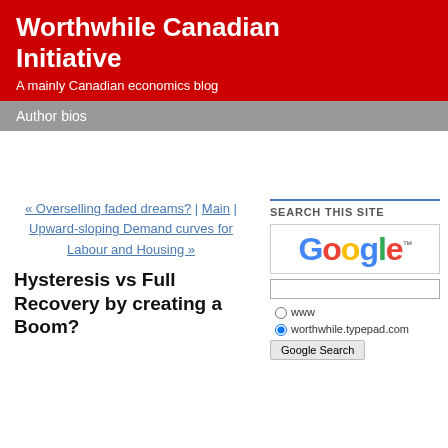Worthwhile Canadian Initiative
A mainly Canadian economics blog
Author bios
« Overselling faded dreams? | Main | Upward-sloping Demand curves for Labour and Housing »
Hysteresis vs Full Recovery by creating a Boom?
SEARCH THIS SITE
[Figure (logo): Google logo with trademark symbol]